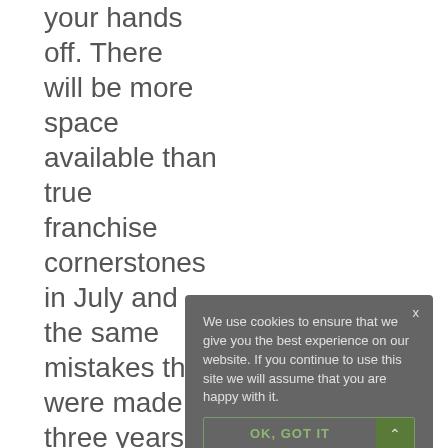your hands off. There will be more space available than true franchise cornerstones in July and the same mistakes that were made three years ago will repeat themselves. 1 passing
We use cookies to ensure that we give you the best experience on our website. If you continue to use this site we will assume that you are happy with it.